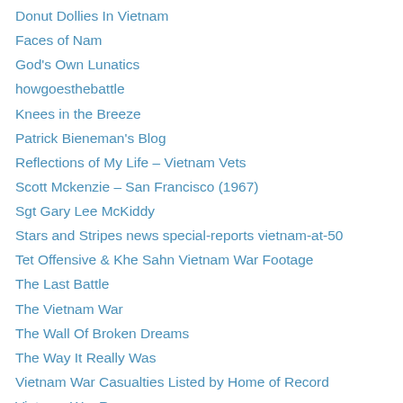Donut Dollies In Vietnam
Faces of Nam
God's Own Lunatics
howgoesthebattle
Knees in the Breeze
Patrick Bieneman's Blog
Reflections of My Life – Vietnam Vets
Scott Mckenzie – San Francisco (1967)
Sgt Gary Lee McKiddy
Stars and Stripes news special-reports vietnam-at-50
Tet Offensive & Khe Sahn Vietnam War Footage
The Last Battle
The Vietnam War
The Wall Of Broken Dreams
The Way It Really Was
Vietnam War Casualties Listed by Home of Record
Vietnam War Resources
Vietnam: Service, Sacrifice, and Courage
WordPress.com